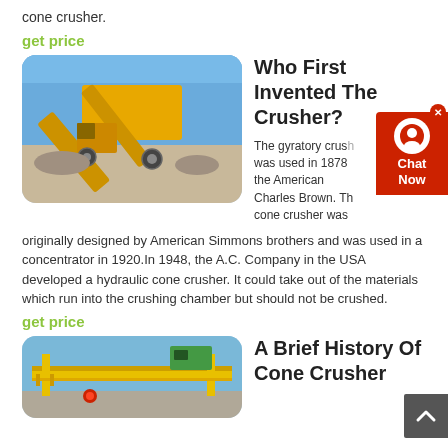cone crusher.
get price
[Figure (photo): Yellow industrial cone crusher machine with conveyor belts on a construction site, blue sky background]
Who First Invented The Crusher?
The gyratory crusher was used in 1878 the American Charles Brown. The cone crusher was
originally designed by American Simmons brothers and was used in a concentrator in 1920.In 1948, the A.C. Company in the USA developed a hydraulic cone crusher. It could take out of the materials which run into the crushing chamber but should not be crushed.
get price
[Figure (photo): Yellow and green industrial conveyor bridge crane structure against blue sky]
A Brief History Of Cone Crusher